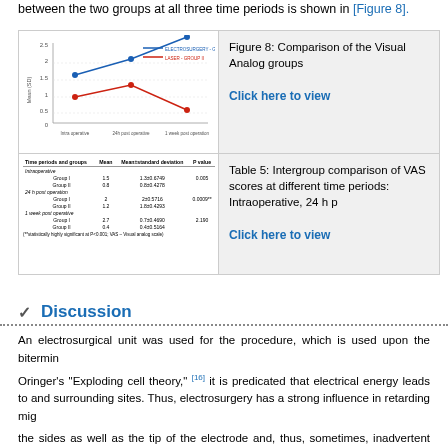between the two groups at all three time periods is shown in [Figure 8].
[Figure (line-chart): Comparison of VAS scores between groups]
Figure 8: Comparison of the Visual Analog groups
| Time periods and groups | Mean | Mean±standard deviation | P value |
| --- | --- | --- | --- |
| Intraoperative |  |  |  |
| Group I | 1.5 | 1.3±0.6749 | 0.005 |
| Group II | 0.8 | 0.8±0.4278 |  |
| 24 h post operative |  |  |  |
| Group I | 2 | 2±0.5716 | 0.0009** |
| Group II | 1.2 | 1.8±0.4293 |  |
| 1 week post operative |  |  |  |
| Group I | 2.7 | 0.7±0.4690 | 2.190 |
| Group II | 0.4 | 0.4±0.5164 |  |
Table 5: Intergroup comparison of VAS scores at different time periods: Intraoperative, 24 h p
Discussion
An electrosurgical unit was used for the procedure, which is used upon the bitermin
Oringer's "Exploding cell theory," [16] it is predicated that electrical energy leads to and surrounding sites. Thus, electrosurgery has a strong influence in retarding mig
the sides as well as the tip of the electrode and, thus, sometimes, inadvertent absorption specific within a target tissue and is unable to control the depth of n causes a depth of necrosis of more than 500 μm; the inability to control s